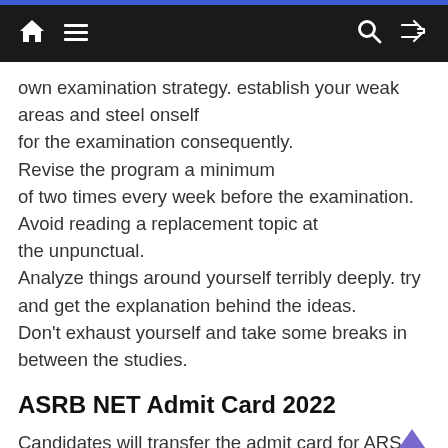Navigation bar with home, menu, search, and shuffle icons
own examination strategy. establish your weak areas and steel onself for the examination consequently. Revise the program a minimum of two times every week before the examination. Avoid reading a replacement topic at the unpunctual. Analyze things around yourself terribly deeply. try and get the explanation behind the ideas. Don't exhaust yourself and take some breaks in between the studies.
ASRB NET Admit Card 2022
Candidates will transfer the admit card for ARS 2019 and net 2022 through the official web site.